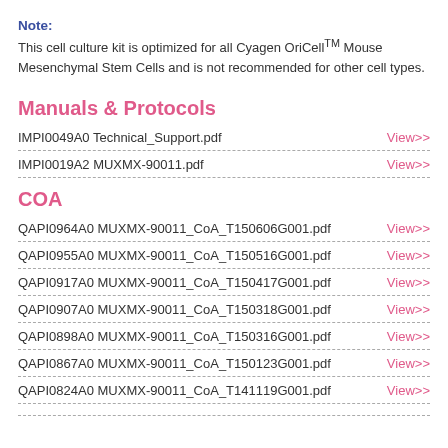Note: This cell culture kit is optimized for all Cyagen OriCell™ Mouse Mesenchymal Stem Cells and is not recommended for other cell types.
Manuals & Protocols
IMPI0049A0 Technical_Support.pdf  View>>
IMPI0019A2 MUXMX-90011.pdf  View>>
COA
QAPI0964A0 MUXMX-90011_CoA_T150606G001.pdf  View>>
QAPI0955A0 MUXMX-90011_CoA_T150516G001.pdf  View>>
QAPI0917A0 MUXMX-90011_CoA_T150417G001.pdf  View>>
QAPI0907A0 MUXMX-90011_CoA_T150318G001.pdf  View>>
QAPI0898A0 MUXMX-90011_CoA_T150316G001.pdf  View>>
QAPI0867A0 MUXMX-90011_CoA_T150123G001.pdf  View>>
QAPI0824A0 MUXMX-90011_CoA_T141119G001.pdf  View>>
QAPI???A0 MUXMX-90011_CoA_T1407??G001.pdf  View>>